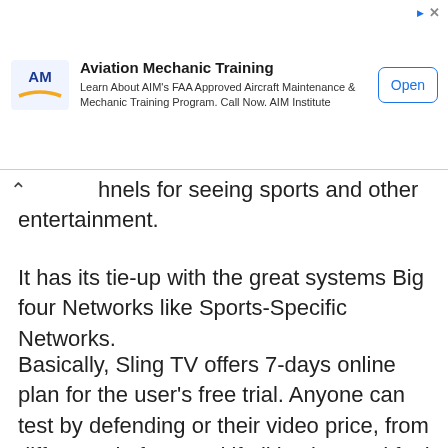[Figure (screenshot): Advertisement banner for AIM Institute - Aviation Mechanic Training. Shows AM logo, title 'Aviation Mechanic Training', description text 'Learn About AIM's FAA Approved Aircraft Maintenance & Mechanic Training Program. Call Now. AIM Institute', and an 'Open' button.]
hnels for seeing sports and other entertainment.
It has its tie-up with the great systems Big four Networks like Sports-Specific Networks.
Basically, Sling TV offers 7-days online plan for the user's free trial. Anyone can test by defending or their video price, from different platform and if all is okay and feel free to buy the all-out plan on Sling TV.